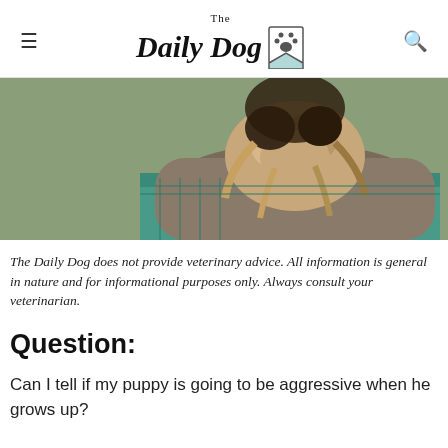The Daily Dog
[Figure (photo): A person holding a small fluffy dog up to their face, sitting on a teal metal bench outdoors with autumn foliage in background.]
The Daily Dog does not provide veterinary advice. All information is general in nature and for informational purposes only. Always consult your veterinarian.
Question:
Can I tell if my puppy is going to be aggressive when he grows up?